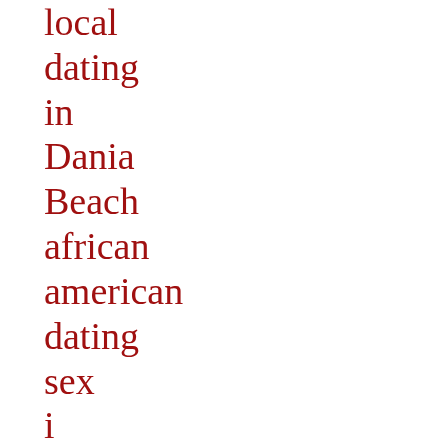local dating in Dania Beach african american dating sex i loved this You will definitely find a woman for your liking. swinger login free sexting Guadalupe